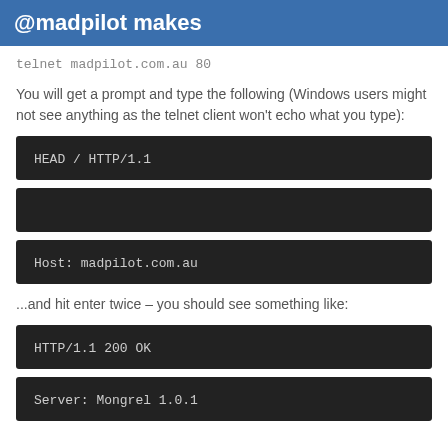@madpilot makes
telnet madpilot.com.au 80
You will get a prompt and type the following (Windows users might not see anything as the telnet client won't echo what you type):
HEAD / HTTP/1.1
Host: madpilot.com.au
...and hit enter twice – you should see something like:
HTTP/1.1 200 OK
Server: Mongrel 1.0.1